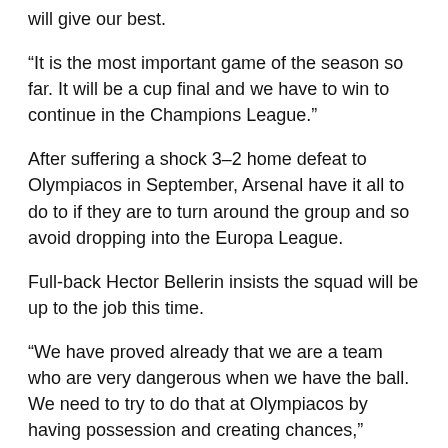will give our best.
“It is the most important game of the season so far. It will be a cup final and we have to win to continue in the Champions League.”
After suffering a shock 3–2 home defeat to Olympiacos in September, Arsenal have it all to do to if they are to turn around the group and so avoid dropping into the Europa League.
Full-back Hector Bellerin insists the squad will be up to the job this time.
“We have proved already that we are a team who are very dangerous when we have the ball. We need to try to do that at Olympiacos by having possession and creating chances,” Bellerin said on the club’s official website.
“I am sure that the ball is going to go in and that we’re going to go home with a win. That’s very important, that the team is in the mood for it and that the team wants to get out of the group stages.